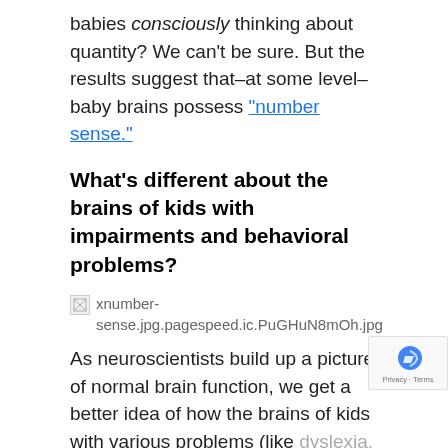babies consciously thinking about quantity? We can't be sure. But the results suggest that–at some level–baby brains possess "number sense."
What's different about the brains of kids with impairments and behavioral problems?
[Figure (photo): Broken image placeholder for xnumber-sense.jpg.pagespeed.ic.PuGHuN8mOh.jpg]
As neuroscientists build up a picture of normal brain function, we get a better idea of how the brains of kids with various problems (like dyslexia, ADHD, or autism) may differ from the brains of normally-developing kids.